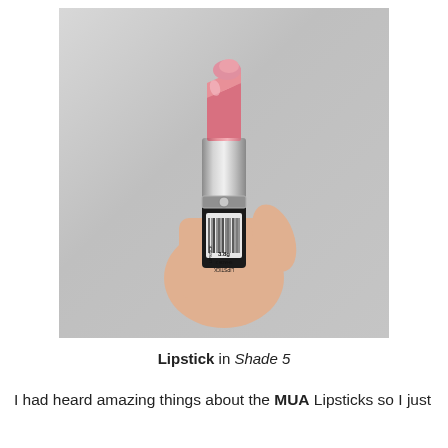[Figure (photo): A hand holding an open silver tube of pink lipstick. The lipstick is a shimmery rose/pink color. The bottom of the tube shows a barcode label reading 'LIPSTICK SHADE 2' and '3.8g'. The background is a light gray fabric.]
Lipstick in Shade 5
I had heard amazing things about the MUA Lipsticks so I just